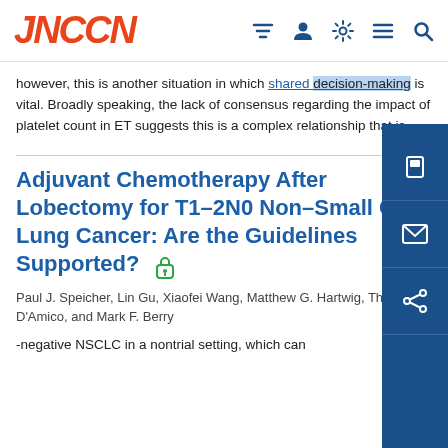JNCCN
however, this is another situation in which shared decision-making is vital. Broadly speaking, the lack of consensus regarding the impact of platelet count in ET suggests this is a complex relationship that is
Adjuvant Chemotherapy After Lobectomy for T1–2N0 Non–Small Cell Lung Cancer: Are the Guidelines Supported?
Paul J. Speicher, Lin Gu, Xiaofei Wang, Matthew G. Hartwig, Thomas A. D'Amico, and Mark F. Berry
-negative NSCLC in a nontrial setting, which can